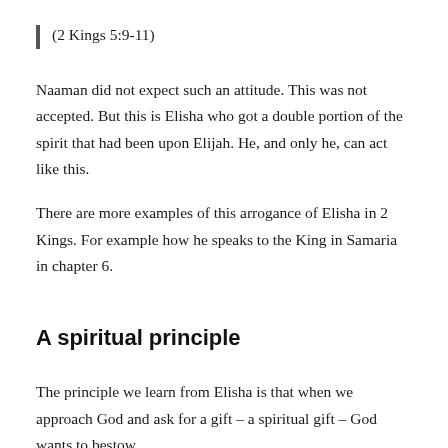(2 Kings 5:9-11)
Naaman did not expect such an attitude. This was not accepted. But this is Elisha who got a double portion of the spirit that had been upon Elijah. He, and only he, can act like this.
There are more examples of this arrogance of Elisha in 2 Kings. For example how he speaks to the King in Samaria in chapter 6.
A spiritual principle
The principle we learn from Elisha is that when we approach God and ask for a gift – a spiritual gift – God wants to bestow